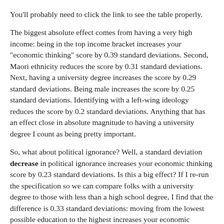You'll probably need to click the link to see the table properly.
The biggest absolute effect comes from having a very high income: being in the top income bracket increases your "economic thinking" score by 0.39 standard deviations. Second, Maori ethnicity reduces the score by 0.31 standard deviations. Next, having a university degree increases the score by 0.29 standard deviations. Being male increases the score by 0.25 standard deviations. Identifying with a left-wing ideology reduces the score by 0.2 standard deviations. Anything that has an effect close in absolute magnitude to having a university degree I count as being pretty important.
So, what about political ignorance? Well, a standard deviation decrease in political ignorance increases your economic thinking score by 0.23 standard deviations. Is this a big effect? If I re-run the specification so we can compare folks with a university degree to those with less than a high school degree, I find that the difference is 0.33 standard deviations: moving from the lowest possible education to the highest increases your economic thinking by a third of a standard deviation. How about moving from the highest amount of ignorance to the lowest? The difference between